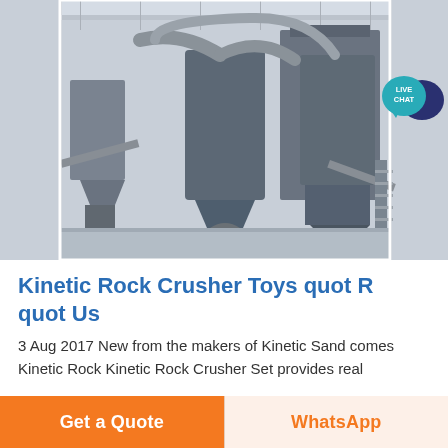[Figure (photo): Industrial rock crushing plant interior showing large dust collection units, conveyor systems, silos, and processing equipment inside a warehouse facility with grey flooring.]
[Figure (illustration): Live Chat button/bubble — teal speech bubble with 'LIVE CHAT' text and a dark blue chat icon to the right.]
Kinetic Rock Crusher Toys quot R quot Us
3 Aug 2017 New from the makers of Kinetic Sand comes Kinetic Rock Kinetic Rock Crusher Set provides real